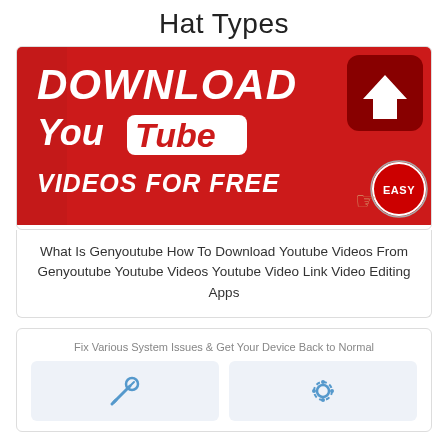Hat Types
[Figure (screenshot): Red YouTube banner advertisement showing 'DOWNLOAD YouTube VIDEOS FOR FREE' with a download arrow icon and 'EASY' button]
What Is Genyoutube How To Download Youtube Videos From Genyoutube Youtube Videos Youtube Video Link Video Editing Apps
[Figure (screenshot): Card with text 'Fix Various System Issues & Get Your Device Back to Normal' and two icon boxes showing a wrench/tools icon and a settings/gear icon]